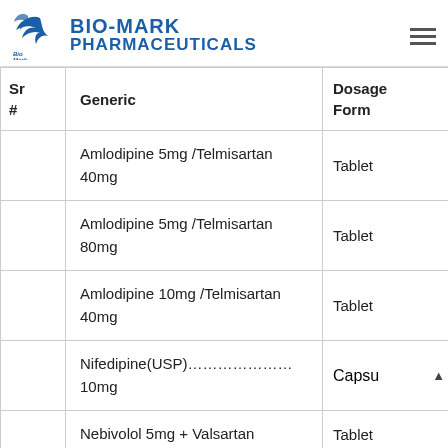[Figure (logo): Bio-Mark Pharmaceuticals logo with blue bird/wing icon and blue text]
| Sr # | Generic | Dosage Form |
| --- | --- | --- |
|  | Amlodipine 5mg /Telmisartan 40mg | Tablet |
|  | Amlodipine 5mg /Telmisartan 80mg | Tablet |
|  | Amlodipine 10mg /Telmisartan 40mg | Tablet |
|  | Nifedipine(USP)…………………10mg | Capsu |
|  | Nebivolol 5mg + Valsartan | Tablet |